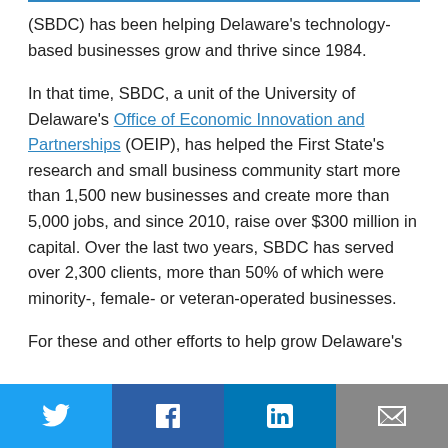(SBDC) has been helping Delaware's technology-based businesses grow and thrive since 1984.

In that time, SBDC, a unit of the University of Delaware's Office of Economic Innovation and Partnerships (OEIP), has helped the First State's research and small business community start more than 1,500 new businesses and create more than 5,000 jobs, and since 2010, raise over $300 million in capital. Over the last two years, SBDC has served over 2,300 clients, more than 50% of which were minority-, female- or veteran-operated businesses.

For these and other efforts to help grow Delaware's
Twitter | Facebook | LinkedIn | Email